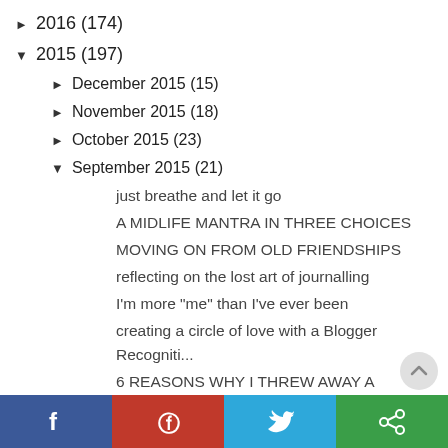► 2016 (174)
▼ 2015 (197)
► December 2015 (15)
► November 2015 (18)
► October 2015 (23)
▼ September 2015 (21)
just breathe and let it go
A MIDLIFE MANTRA IN THREE CHOICES
MOVING ON FROM OLD FRIENDSHIPS
reflecting on the lost art of journalling
I'm more "me" than I've ever been
creating a circle of love with a Blogger Recogniti...
6 REASONS WHY I THREW AWAY A "PERFECTLY GOOD" JOB
[Figure (infographic): Social sharing bar with Facebook, Pinterest, Twitter, and share buttons]